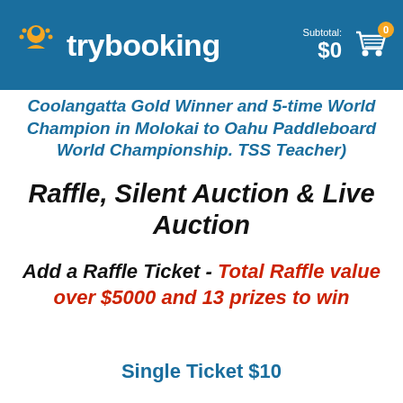trybooking  Subtotal: $0  [cart: 0]
Coolangatta Gold Winner and 5-time World Champion in Molokai to Oahu Paddleboard World Championship. TSS Teacher)
Raffle, Silent Auction & Live Auction
Add a Raffle Ticket - Total Raffle value over $5000 and 13 prizes to win
Single Ticket $10